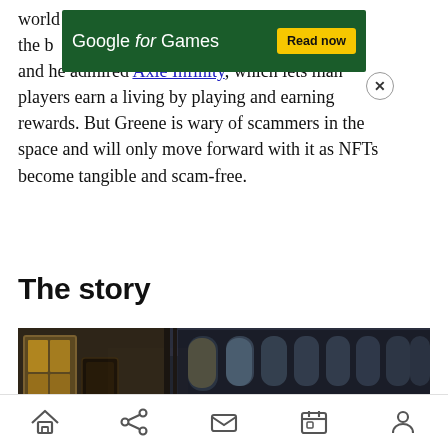world … one of the bi… nt, and he admired Axie Infinity, which lets many players earn a living by playing and earning rewards. But Greene is wary of scammers in the space and will only move forward with it as NFTs become tangible and scam-free.
[Figure (screenshot): Google for Games advertisement banner with dark green background, white text reading 'Google for Games', and a yellow 'Read now' button. A close (X) button appears at the lower right of the banner.]
The story
[Figure (screenshot): Dark interior game scene showing an industrial or historic building with arched windows letting in light. Characters or figures visible in the lower portion of the image.]